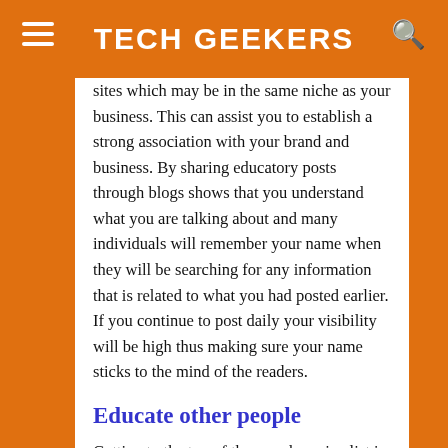TECH GEEKERS
sites which may be in the same niche as your business. This can assist you to establish a strong association with your brand and business. By sharing educatory posts through blogs shows that you understand what you are talking about and many individuals will remember your name when they will be searching for any information that is related to what you had posted earlier. If you continue to post daily your visibility will be high thus making sure your name sticks to the mind of the readers.
Educate other people
Getting to the top of the search engine list is the major reason why you start to blog. Search